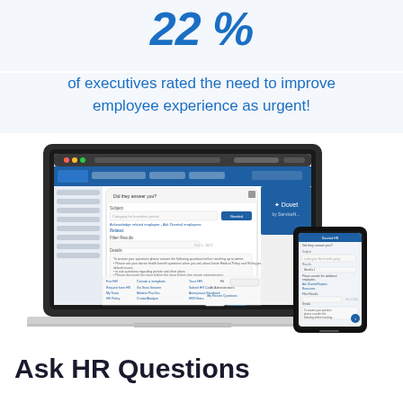22%
of executives rated the need to improve employee experience as urgent!
[Figure (screenshot): Screenshot of a software interface showing HR portal on laptop and mobile phone. The laptop displays a Dovetail HR system with a form/dialog box open for submitting HR questions. The mobile phone shows the same interface in a mobile-friendly format.]
Ask HR Questions